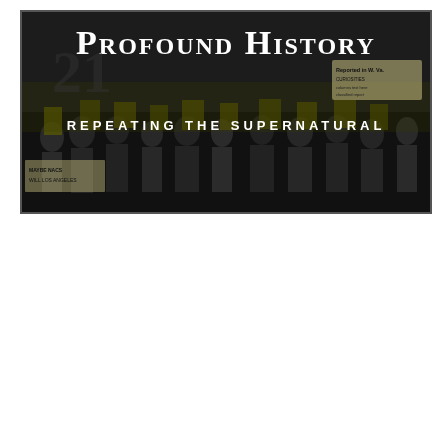[Figure (illustration): Book cover image for 'Profound History: Repeating the Supernatural'. Dark background showing a crowd scene with people holding signs. The title 'Profound History' appears in large serif/blackletter font at the top, with subtitle 'Repeating the Supernatural' beneath it in smaller spaced caps. Various news clippings or overlaid text elements visible.]